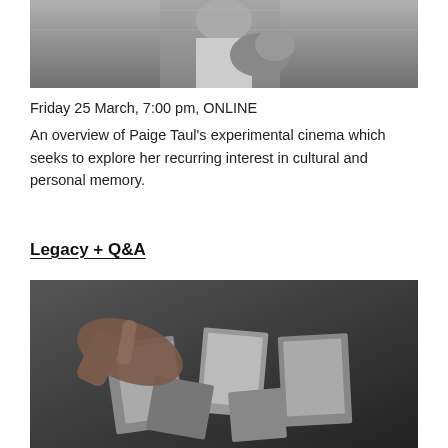[Figure (photo): Black and white photo showing a person in a white tank top holding flowers, viewed from behind, outdoors.]
Friday 25 March, 7:00 pm, ONLINE
An overview of Paige Taul's experimental cinema which seeks to explore her recurring interest in cultural and personal memory.
Legacy + Q&A
[Figure (photo): Black and white photo of an elderly hand pointing at a collection of portrait photographs spread on a surface.]